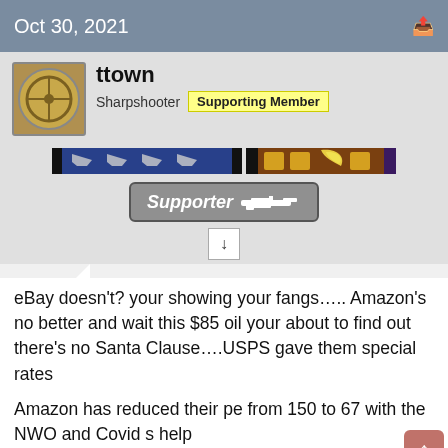Oct 30, 2021
ttown
Sharpshooter  Supporting Member
[Figure (illustration): User badge strip with rifle silhouettes on blue bar, gold blocks with banana image on brown bar, and a grey Supporter button with assault rifle icon. Below is a small download/arrow box.]
eBay doesn't? your showing your fangs….. Amazon's no better and wait this $85 oil your about to find out there's no Santa Clause….USPS gave them special rates
Amazon has reduced their pe from 150 to 67 with the NWO and Covid s help
just like all the too big to fails of the NWO, we'll bail them out